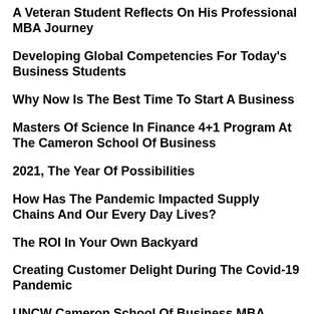A Veteran Student Reflects On His Professional MBA Journey
Developing Global Competencies For Today's Business Students
Why Now Is The Best Time To Start A Business
Masters Of Science In Finance 4+1 Program At The Cameron School Of Business
2021, The Year Of Possibilities
How Has The Pandemic Impacted Supply Chains And Our Every Day Lives?
The ROI In Your Own Backyard
Creating Customer Delight During The Covid-19 Pandemic
UNCW Cameron School Of Business MBA